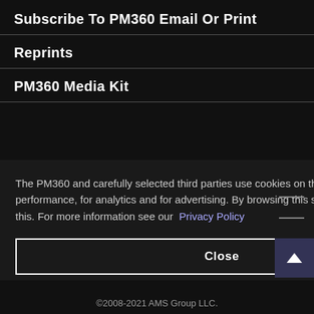Subscribe To PM360 Email Or Print
Reprints
PM360 Media Kit
The PM360 and carefully selected third parties use cookies on this site to improve performance, for analytics and for advertising. By browsing this site you are agreeing to this. For more information see our  Privacy Policy
Close
©2008-2021 AMS Group LLC.